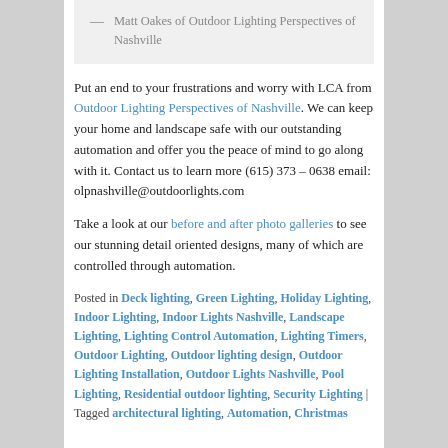[Figure (other): Quote box with dash and author name: Matt Oakes of Outdoor Lighting Perspectives of Nashville]
Put an end to your frustrations and worry with LCA from Outdoor Lighting Perspectives of Nashville. We can keep your home and landscape safe with our outstanding automation and offer you the peace of mind to go along with it. Contact us to learn more (615) 373 – 0638 email: olpnashville@outdoorlights.com
Take a look at our before and after photo galleries to see our stunning detail oriented designs, many of which are controlled through automation.
Posted in Deck lighting, Green Lighting, Holiday Lighting, Indoor Lighting, Indoor Lights Nashville, Landscape Lighting, Lighting Control Automation, Lighting Timers, Outdoor Lighting, Outdoor lighting design, Outdoor Lighting Installation, Outdoor Lights Nashville, Pool Lighting, Residential outdoor lighting, Security Lighting | Tagged architectural lighting, Automation, Christmas